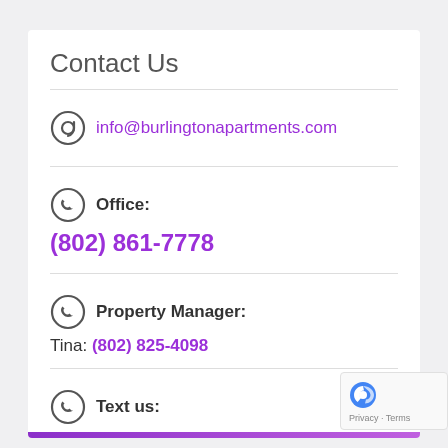Contact Us
info@burlingtonapartments.com
Office: (802) 861-7778
Property Manager: Tina: (802) 825-4098
Text us: